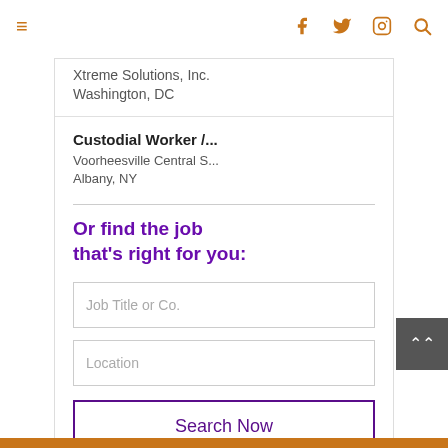≡  [Facebook] [Twitter] [Instagram] [Search]
Xtreme Solutions, Inc.
Washington, DC
Custodial Worker /...
Voorheesville Central S...
Albany, NY
Or find the job that's right for you:
Job Title or Co.
Location
Search Now